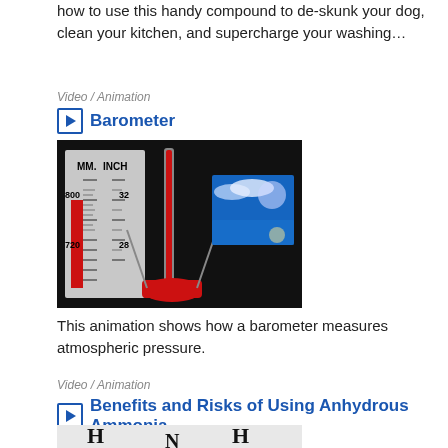how to use this handy compound to de-skunk your dog, clean your kitchen, and supercharge your washing…
Video / Animation
Barometer
[Figure (photo): Screenshot of a barometer animation showing MM and INCH scales with readings around 800/32 and 720/28, with a blue sky image in the background]
This animation shows how a barometer measures atmospheric pressure.
Video / Animation
Benefits and Risks of Using Anhydrous Ammonia
[Figure (illustration): Molecular diagram of ammonia (NH3) showing H-N-H structure on a light grey background]